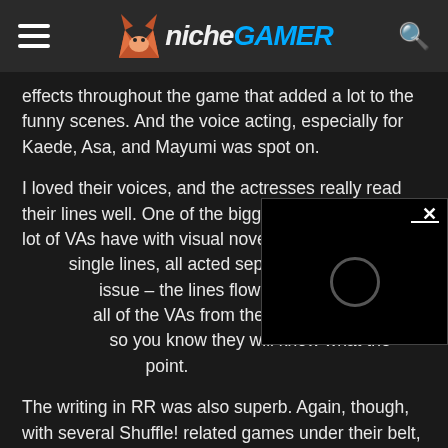Niche Gamer — navigation header with hamburger menu, logo, and search icon
effects throughout the game that added a lot to the funny scenes. And the voice acting, especially for Kaede, Asa, and Mayumi was spot on.
I loved their voices, and the actresses really read their lines well. One of the biggest problems that a lot of VAs have with visual novel lines is th[at they're given] single lines, all acted separately. RR [didn't have that] issue – the lines flowed very well, wh[ich is aided by] all of the VAs from the anime reprise [their roles here,] so you know they will know what the[y're talking about at] point.
[Figure (screenshot): Black video player overlay with X close button and circular play indicator, partially obscuring the article text]
The writing in RR was also superb. Again, though, with several Shuffle! related games under their belt, Navel has a strong background of well-written stories. The comedy and serious parts were well balanced – a perk